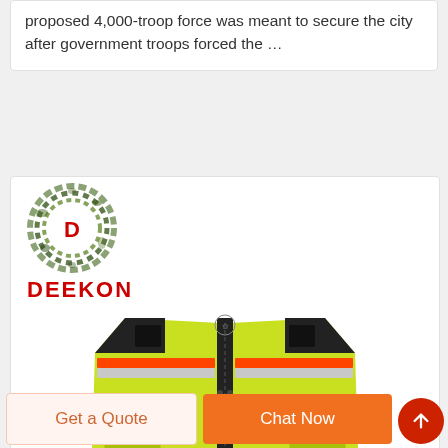proposed 4,000-troop force was meant to secure the city after government troops forced the …
[Figure (logo): Deekon brand logo: circular camouflage-pattern emblem with red D letter in center, and red bold text DEEKON below]
[Figure (photo): High-visibility yellow-green safety vest with black zipper, orange and silver reflective stripes, multiple pockets, and velcro tabs]
Get a Quote
Chat Now